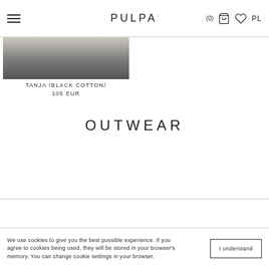PULPA | (0) PL
[Figure (photo): Dark clothing item partially visible at top of page]
TANJA /BLACK COTTON/
105 EUR
OUTWEAR
We use cookies to give you the best possible experience. If you agree to cookies being used, they will be stored in your browser's memory. You can change cookie settings in your browser.
I understand